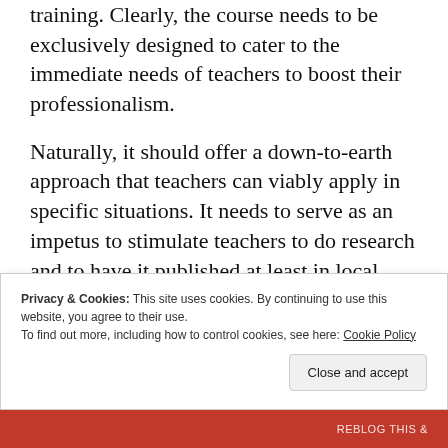training. Clearly, the course needs to be exclusively designed to cater to the immediate needs of teachers to boost their professionalism.
Naturally, it should offer a down-to-earth approach that teachers can viably apply in specific situations. It needs to serve as an impetus to stimulate teachers to do research and to have it published at least in local journals.
[Figure (photo): Partial photo visible at bottom right of page, cropped]
Privacy & Cookies: This site uses cookies. By continuing to use this website, you agree to their use.
To find out more, including how to control cookies, see here: Cookie Policy
Close and accept